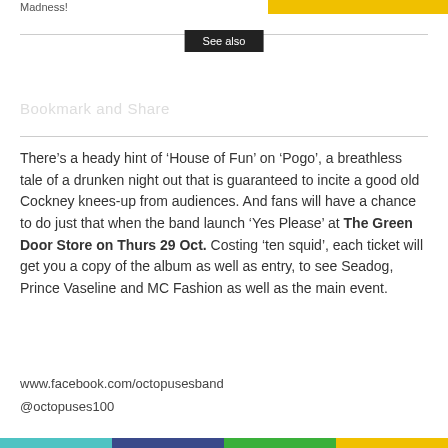Madness!
See also
Bookmark and Share
There’s a heady hint of ‘House of Fun’ on ‘Pogo’, a breathless tale of a drunken night out that is guaranteed to incite a good old Cockney knees-up from audiences. And fans will have a chance to do just that when the band launch ‘Yes Please’ at The Green Door Store on Thurs 29 Oct. Costing ‘ten squid’, each ticket will get you a copy of the album as well as entry, to see Seadog, Prince Vaseline and MC Fashion as well as the main event.
www.facebook.com/octopusesband
@octopuses100